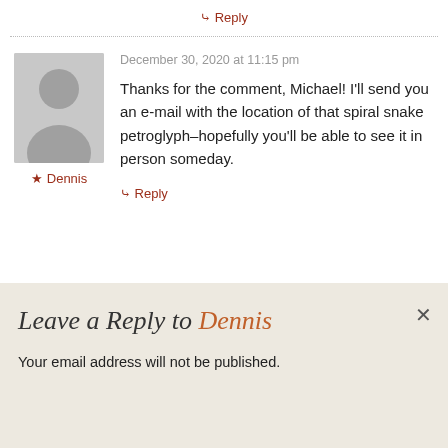↳ Reply
December 30, 2020 at 11:15 pm
Thanks for the comment, Michael! I'll send you an e-mail with the location of that spiral snake petroglyph–hopefully you'll be able to see it in person someday.
★ Dennis
↳ Reply
Leave a Reply to Dennis
Your email address will not be published.